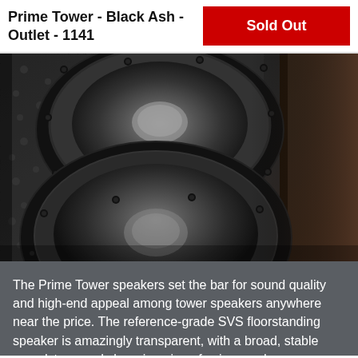Prime Tower - Black Ash - Outlet - 1141
Sold Out
[Figure (photo): Close-up photograph of SVS Prime Tower speaker in Black Ash finish showing two woofer drivers mounted in textured black cabinet with chrome mounting screws]
The Prime Tower speakers set the bar for sound quality and high-end appeal among tower speakers anywhere near the price. The reference-grade SVS floorstanding speaker is amazingly transparent, with a broad, stable soundstage and sharp imaging of voices and